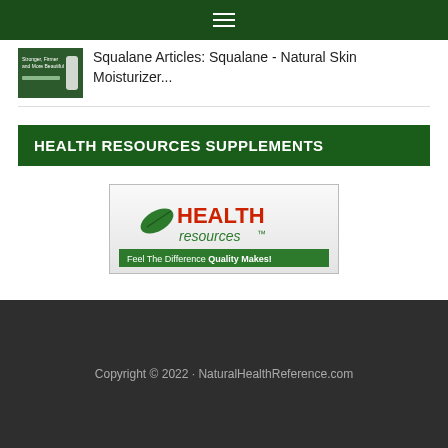≡ (navigation menu)
Squalane Articles: Squalane - Natural Skin Moisturizer...
HEALTH RESOURCES SUPPLEMENTS
[Figure (logo): Health Resources logo with green leaf and text 'HEALTH resources™ Feel The Difference Quality Makes!']
Copyright © 2022 · NaturalHealthReference.com